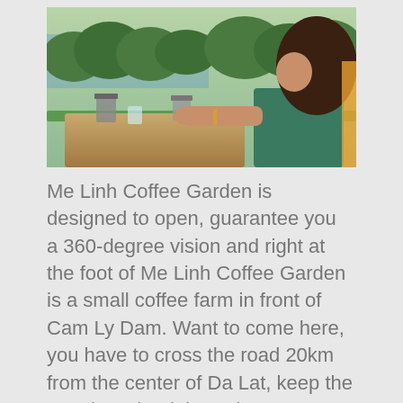[Figure (photo): A woman sitting at an outdoor table at a hillside coffee garden, holding a Vietnamese drip coffee cup. Green landscape with river and forest in the background visible from a balcony.]
Me Linh Coffee Garden is designed to open, guarantee you a 360-degree vision and right at the foot of Me Linh Coffee Garden is a small coffee farm in front of Cam Ly Dam. Want to come here, you have to cross the road 20km from the center of Da Lat, keep the steering wheel through Ta Nung Pass and then run into provincial road 725.